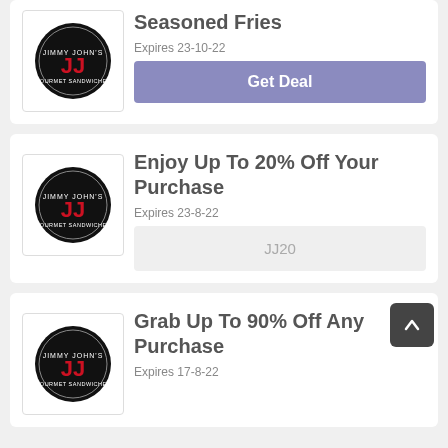[Figure (logo): Jimmy John's circular logo — black circle with JJ in red]
Seasoned Fries
Expires 23-10-22
Get Deal
[Figure (logo): Jimmy John's circular logo — black circle with JJ in red]
Enjoy Up To 20% Off Your Purchase
Expires 23-8-22
JJ20
[Figure (logo): Jimmy John's circular logo — black circle with JJ in red]
Grab Up To 90% Off Any Purchase
Expires 17-8-22